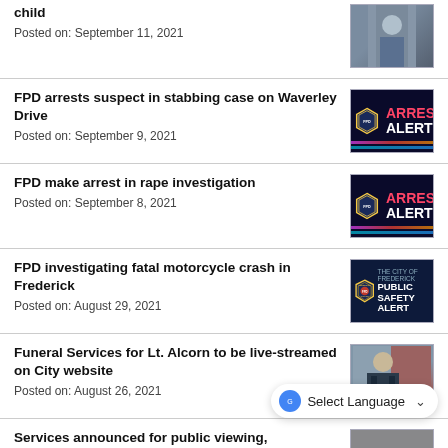child
Posted on: September 11, 2021
FPD arrests suspect in stabbing case on Waverley Drive
Posted on: September 9, 2021
[Figure (photo): Arrest Alert graphic with neon text and police badge]
FPD make arrest in rape investigation
Posted on: September 8, 2021
[Figure (photo): Arrest Alert graphic with neon text and police badge]
FPD investigating fatal motorcycle crash in Frederick
Posted on: August 29, 2021
[Figure (photo): Frederick Police Public Safety Alert graphic]
Funeral Services for Lt. Alcorn to be live-streamed on City website
Posted on: August 26, 2021
[Figure (photo): Police officer portrait photo in uniform with American flag]
Services announced for public viewing,
[Figure (photo): Partial photo thumbnail]
Select Language